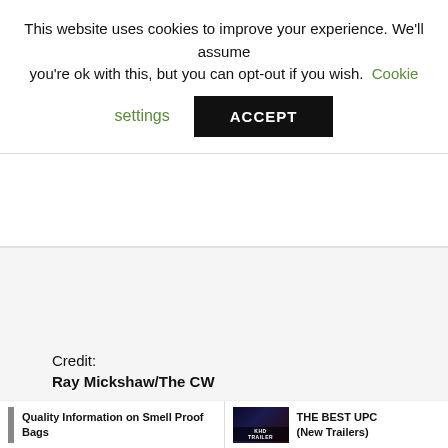This website uses cookies to improve your experience. We'll assume you're ok with this, but you can opt-out if you wish. Cookie settings  ACCEPT
[Figure (other): Large blank/grey image area below cookie banner (advertisement or image placeholder)]
Credit:
Ray Mickshaw/The CW
Quality Information on Smell Proof Bags
THE BEST UPC (New Trailers)